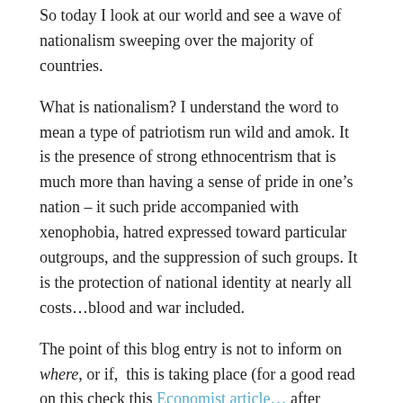So today I look at our world and see a wave of nationalism sweeping over the majority of countries.
What is nationalism? I understand the word to mean a type of patriotism run wild and amok. It is the presence of strong ethnocentrism that is much more than having a sense of pride in one’s nation – it such pride accompanied with xenophobia, hatred expressed toward particular outgroups, and the suppression of such groups. It is the protection of national identity at nearly all costs…blood and war included.
The point of this blog entry is not to inform on where, or if, this is taking place (for a good read on this check this Economist article… after which you will no longer have any doubt of its global existence) rather it is to ask the question as to why it is taking place.
Why, in 2017, are countries resorting back to isolationist type policies, fearing immigration and feeling compelled, perhaps more than ever, to protect itself at all costs including the coveting of its own sense of ethnic and racial identities? Why is pure patriotism morphing into